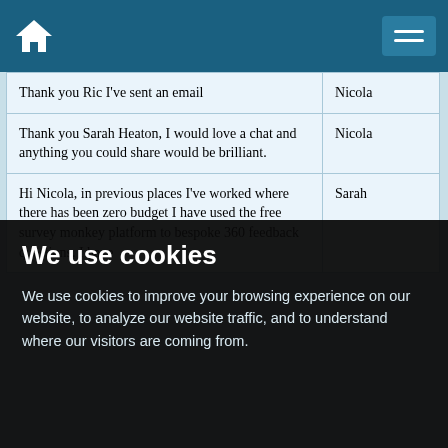[Figure (other): Navigation bar with home icon and hamburger menu on dark teal background]
| Thank you Ric I've sent an email | Nicola |
| Thank you Sarah Heaton, I would love a chat and anything you could share would be brilliant. | Nicola |
| Hi Nicola, in previous places I've worked where there has been zero budget I have used the free survey monkey platform to bespoke 360 feedback questions. I have | Sarah |
We use cookies
We use cookies to improve your browsing experience on our website, to analyze our website traffic, and to understand where our visitors are coming from.